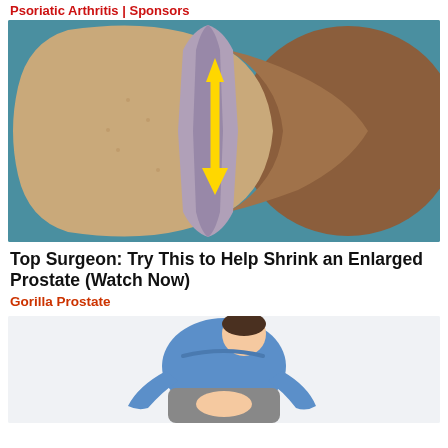Psoriatic Arthritis | Sponsors
[Figure (illustration): Medical illustration showing a cross-section of an enlarged prostate gland viewed from above, with a yellow downward-pointing arrow in the center indicating the urethra passage. The prostate lobes are shown in tan/beige texture against a teal/blue background, with a brown segment on the right side.]
Top Surgeon: Try This to Help Shrink an Enlarged Prostate (Watch Now)
Gorilla Prostate
[Figure (illustration): Illustration of a person sitting hunched over, wearing a blue shirt and grey shorts, clutching their lower abdomen area, suggesting discomfort or pain related to prostate issues.]